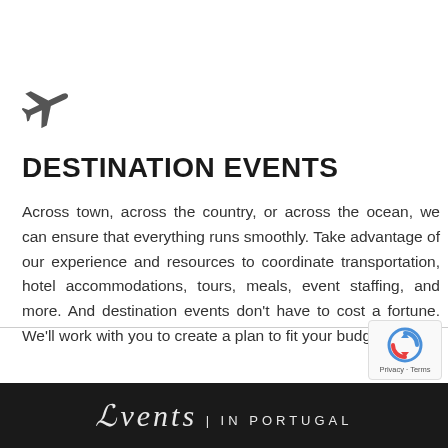[Figure (illustration): Airplane icon (silhouette of a plane), dark gray, positioned in upper-left area]
DESTINATION EVENTS
Across town, across the country, or across the ocean, we can ensure that everything runs smoothly. Take advantage of our experience and resources to coordinate transportation, hotel accommodations, tours, meals, event staffing, and more. And destination events don't have to cost a fortune. We'll work with you to create a plan to fit your budget.
[Figure (logo): Events in Portugal logo text on dark background at the bottom of the page]